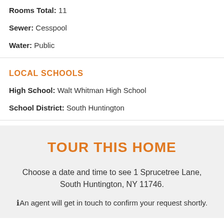Rooms Total: 11
Sewer: Cesspool
Water: Public
LOCAL SCHOOLS
High School: Walt Whitman High School
School District: South Huntington
TOUR THIS HOME
Choose a date and time to see 1 Sprucetree Lane, South Huntington, NY 11746.
An agent will get in touch to confirm your request shortly.